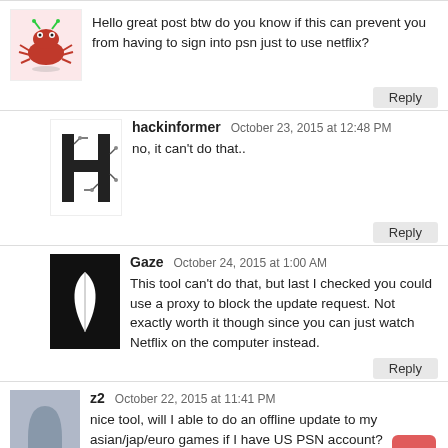Hello great post btw do you know if this can prevent you from having to sign into psn just to use netflix?
Reply
hackinformer   October 23, 2015 at 12:48 PM
no, it can't do that..
Reply
Gaze   October 24, 2015 at 1:00 AM
This tool can't do that, but last I checked you could use a proxy to block the update request. Not exactly worth it though since you can just watch Netflix on the computer instead.
Reply
z2   October 22, 2015 at 11:41 PM
nice tool, will I able to do an offline update to my asian/jap/euro games if I have US PSN account?
I'm also on 3.18FW and have unity/psm btw..
Reply